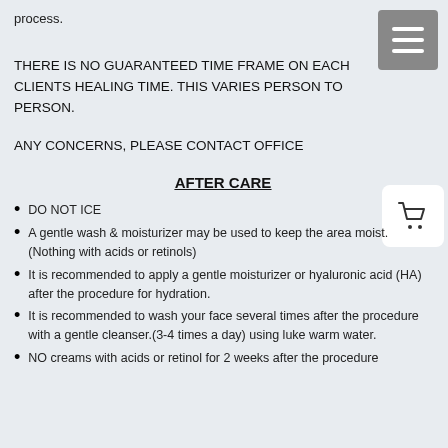process.
THERE IS NO GUARANTEED TIME FRAME ON EACH CLIENTS HEALING TIME.  THIS VARIES PERSON TO PERSON.
ANY CONCERNS, PLEASE CONTACT OFFICE
AFTER CARE
DO NOT ICE
A gentle wash & moisturizer may be used to keep the area moist. (Nothing with acids or retinols)
It is recommended to apply a gentle moisturizer or hyaluronic acid (HA) after the procedure for hydration.
It is recommended to wash your face several times after the procedure with a gentle cleanser.(3-4 times a day) using luke warm water.
NO creams with acids or retinol for 2 weeks after the procedure